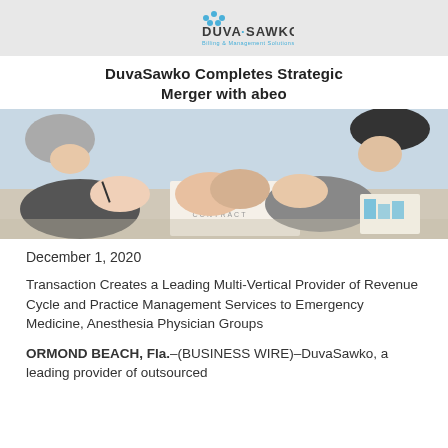[Figure (logo): DuvaSawko logo with tagline 'Billing & Management Solutions']
DuvaSawko Completes Strategic Merger with abeo
[Figure (photo): Business professionals shaking hands over a contract document on a table]
December 1, 2020
Transaction Creates a Leading Multi-Vertical Provider of Revenue Cycle and Practice Management Services to Emergency Medicine, Anesthesia Physician Groups
ORMOND BEACH, Fla.–(BUSINESS WIRE)–DuvaSawko, a leading provider of outsourced